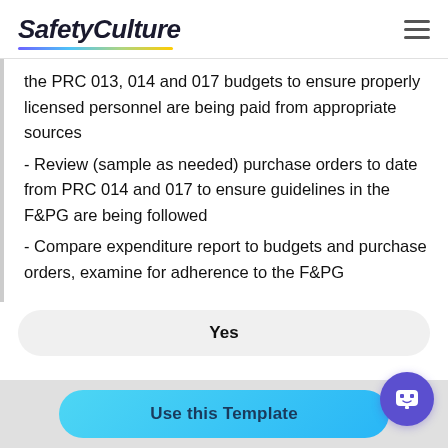SafetyCulture
the PRC 013, 014 and 017 budgets to ensure properly licensed personnel are being paid from appropriate sources
- Review (sample as needed) purchase orders to date from PRC 014 and 017 to ensure guidelines in the F&PG are being followed
- Compare expenditure report to budgets and purchase orders, examine for adherence to the F&PG
Yes
Use this Template